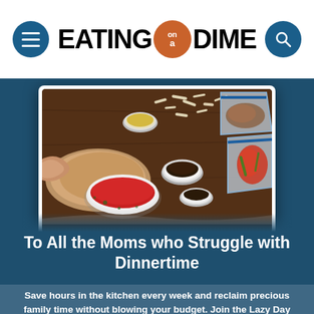EATING on a DIME
[Figure (photo): Overhead view of meal prep ingredients including chicken, spices in bowls, tomato sauce, shredded cheese, and freezer bags with marinated meat on a dark cutting board.]
To All the Moms who Struggle with Dinnertime
Save hours in the kitchen every week and reclaim precious family time without blowing your budget. Join the Lazy Day Cooking Club.